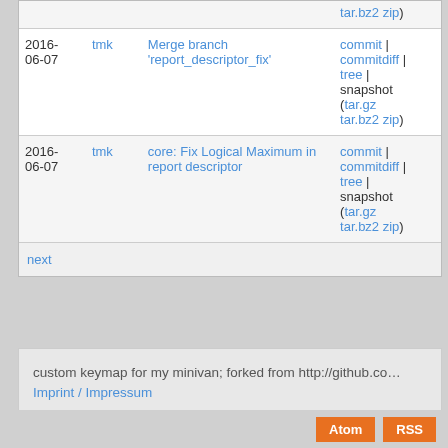| date | author | message | actions |
| --- | --- | --- | --- |
|  |  |  | tar.bz2 zip) |
| 2016-06-07 | tmk | Merge branch 'report_descriptor_fix' | commit | commitdiff | tree | snapshot (tar.gz tar.bz2 zip) |
| 2016-06-07 | tmk | core: Fix Logical Maximum in report descriptor | commit | commitdiff | tree | snapshot (tar.gz tar.bz2 zip) |
| next |  |  |  |
custom keymap for my minivan; forked from http://github.co…
Imprint / Impressum